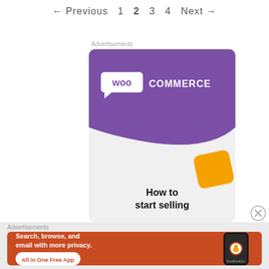← Previous  1  2  3  4  Next →
Advertisements
[Figure (illustration): WooCommerce advertisement banner showing purple branded header with WooCommerce logo, an orange accent shape, and text 'How to start selling']
Advertisements
[Figure (illustration): DuckDuckGo advertisement on orange background with text 'Search, browse, and email with more privacy. All in One Free App' and a phone showing DuckDuckGo app]